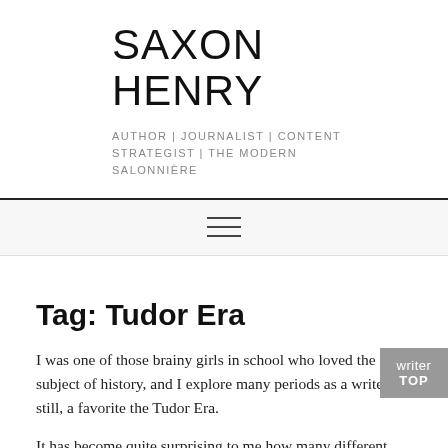SAXON HENRY
AUTHOR | JOURNALIST | CONTENT STRATEGIST | THE MODERN SALONNIÈRE
[Figure (other): Hamburger menu icon (three horizontal lines)]
Tag: Tudor Era
I was one of those brainy girls in school who loved the subject of history, and I explore many periods as a writer still, a favorite the Tudor Era.
It has become quite surprising to me how many different